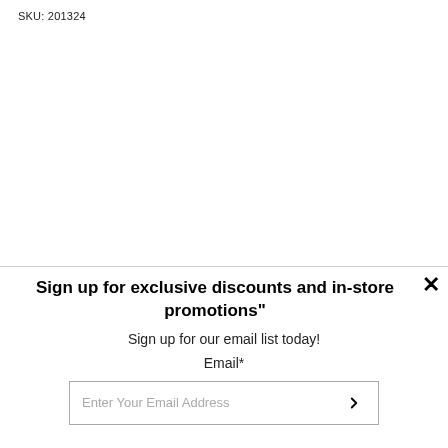SKU: 201324
Sign up for exclusive discounts and in-store promotions"
Sign up for our email list today!
Email*
Enter Your Email Address